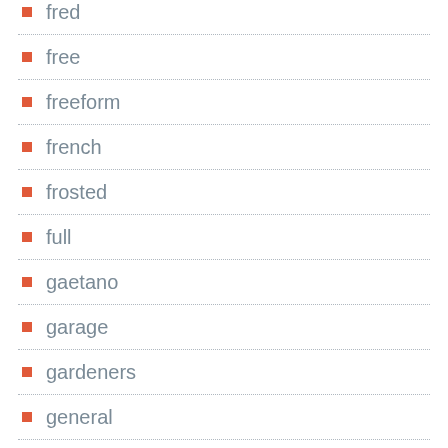fred
free
freeform
french
frosted
full
gaetano
garage
gardeners
general
genie